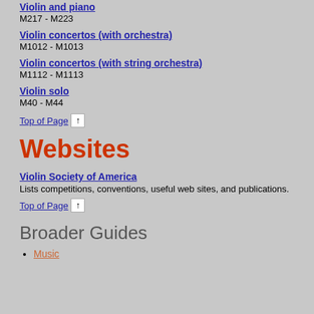Violin and piano
M217 - M223
Violin concertos (with orchestra)
M1012 - M1013
Violin concertos (with string orchestra)
M1112 - M1113
Violin solo
M40 - M44
Top of Page ↑
Websites
Violin Society of America
Lists competitions, conventions, useful web sites, and publications.
Top of Page ↑
Broader Guides
Music